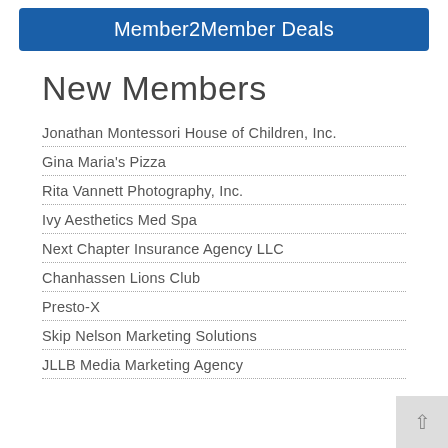Member2Member Deals
New Members
Jonathan Montessori House of Children, Inc.
Gina Maria's Pizza
Rita Vannett Photography, Inc.
Ivy Aesthetics Med Spa
Next Chapter Insurance Agency LLC
Chanhassen Lions Club
Presto-X
Skip Nelson Marketing Solutions
JLLB Media Marketing Agency